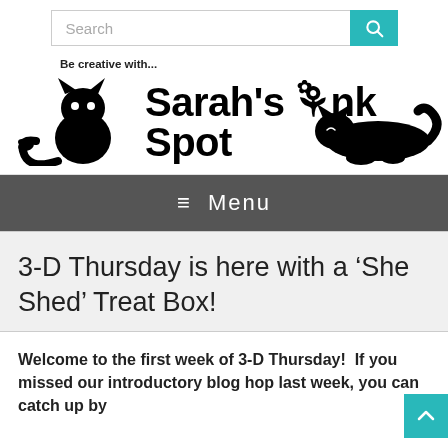[Figure (screenshot): Search bar with teal search button]
[Figure (logo): Sarah's Ink Spot blog header with black cat silhouettes and 'Be creative with...' tagline]
[Figure (screenshot): Dark grey menu bar with hamburger icon and 'Menu' text]
3-D Thursday is here with a ‘She Shed’ Treat Box!
Welcome to the first week of 3-D Thursday!  If you missed our introductory blog hop last week, you can catch up by